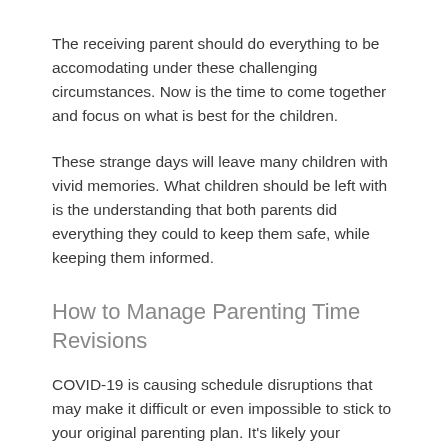The receiving parent should do everything to be accomodating under these challenging circumstances. Now is the time to come together and focus on what is best for the children.
These strange days will leave many children with vivid memories. What children should be left with is the understanding that both parents did everything they could to keep them safe, while keeping them informed.
How to Manage Parenting Time Revisions
COVID-19 is causing schedule disruptions that may make it difficult or even impossible to stick to your original parenting plan. It's likely your agreement didn't come close to accounting for a situation like this.